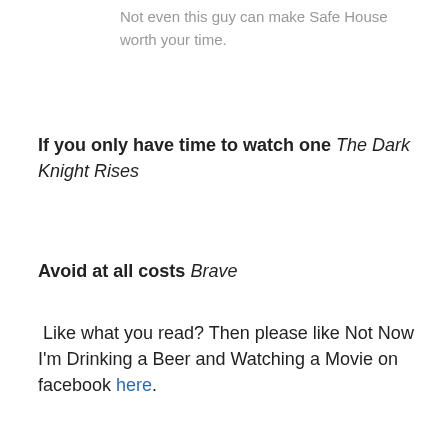Not even this guy can make Safe House worth your time.
If you only have time to watch one The Dark Knight Rises
Avoid at all costs Brave
Like what you read? Then please like Not Now I'm Drinking a Beer and Watching a Movie on facebook here.
August 5, 2012   Leave a Reply
Trailer for your weekend: Monsters University